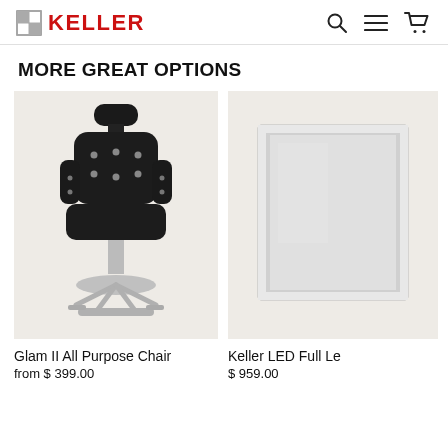KELLER
MORE GREAT OPTIONS
[Figure (photo): Black tufted all-purpose barber chair with chrome hydraulic base and footrest]
Glam II All Purpose Chair
from $ 399.00
[Figure (photo): Keller LED full length mirror with silver/chrome frame, partially cropped]
Keller LED Full Le
$959.00